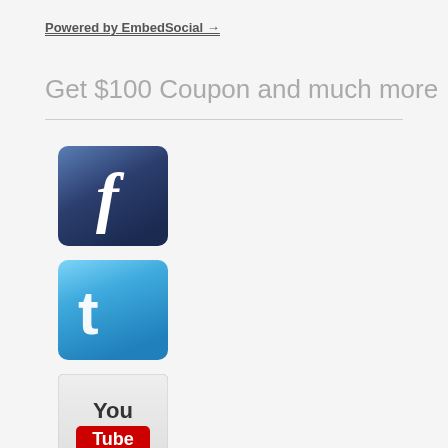Powered by EmbedSocial →
Get $100 Coupon and much more
[Figure (logo): Facebook logo icon - dark blue rounded square with white lowercase f]
[Figure (logo): Twitter logo icon - light blue rounded square with white bird/t logo]
[Figure (logo): YouTube logo icon - light gray rounded square with 'You' text and red 'Tube' button]
[Figure (logo): Pinterest logo icon - light gray rounded square with red P circle logo]